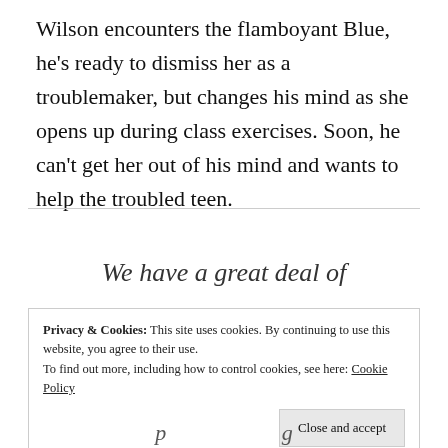Wilson encounters the flamboyant Blue, he's ready to dismiss her as a troublemaker, but changes his mind as she opens up during class exercises. Soon, he can't get her out of his mind and wants to help the troubled teen.
We have a great deal of
Privacy & Cookies: This site uses cookies. By continuing to use this website, you agree to their use.
To find out more, including how to control cookies, see here: Cookie Policy
Close and accept